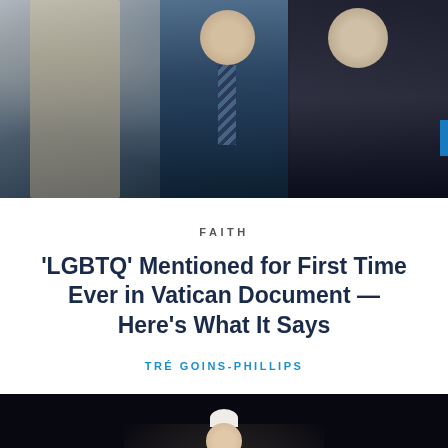[Figure (photo): News article header photo showing security personnel and people in suits, one person in tan/beige clothing, with a blue sidebar tab on the right edge]
FAITH
'LGBTQ' Mentioned for First Time Ever in Vatican Document — Here's What It Says
TRÉ GOINS-PHILLIPS
[Figure (photo): Dark photo of what appears to be a religious figure (pope) in white robes against a dark background, waving or gesturing]